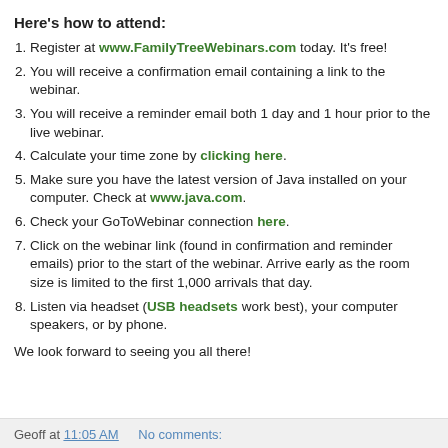Here's how to attend:
Register at www.FamilyTreeWebinars.com today. It's free!
You will receive a confirmation email containing a link to the webinar.
You will receive a reminder email both 1 day and 1 hour prior to the live webinar.
Calculate your time zone by clicking here.
Make sure you have the latest version of Java installed on your computer. Check at www.java.com.
Check your GoToWebinar connection here.
Click on the webinar link (found in confirmation and reminder emails) prior to the start of the webinar. Arrive early as the room size is limited to the first 1,000 arrivals that day.
Listen via headset (USB headsets work best), your computer speakers, or by phone.
We look forward to seeing you all there!
Geoff at 11:05 AM   No comments: